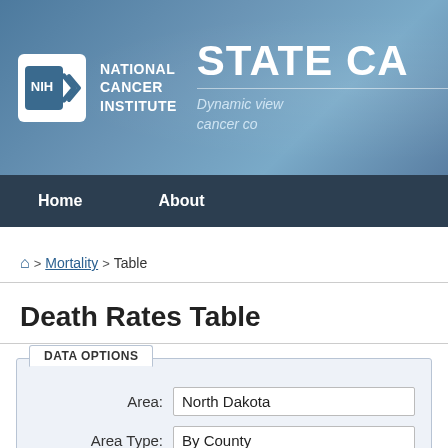[Figure (logo): NIH National Cancer Institute logo with STATE CA... site title header banner]
Home   About
Home > Mortality > Table
Death Rates Table
| Field | Value |
| --- | --- |
| Area: | North Dakota |
| Area Type: | By County |
| Cancer: | Melanoma of the Skin |